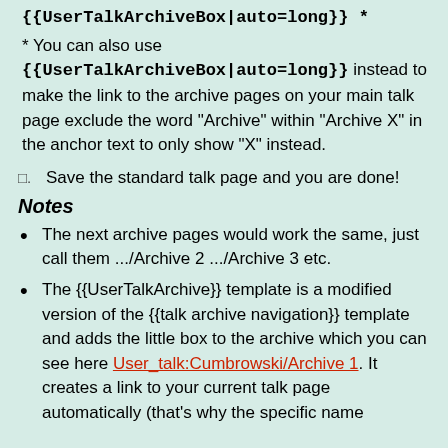{{UserTalkArchiveBox|auto=long}} *
* You can also use {{UserTalkArchiveBox|auto=long}} instead to make the link to the archive pages on your main talk page exclude the word "Archive" within "Archive X" in the anchor text to only show "X" instead.
Save the standard talk page and you are done!
Notes
The next archive pages would work the same, just call them .../Archive 2 .../Archive 3 etc.
The {{UserTalkArchive}} template is a modified version of the {{talk archive navigation}} template and adds the little box to the archive which you can see here User_talk:Cumbrowski/Archive 1. It creates a link to your current talk page automatically (that's why the specific name...